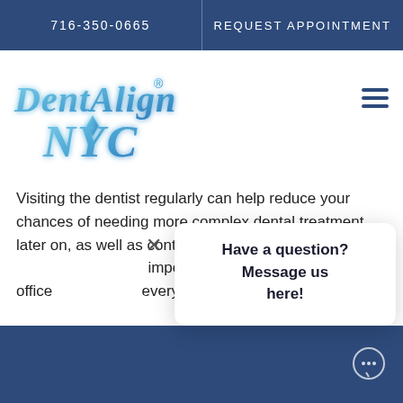716-350-0665  |  REQUEST APPOINTMENT
[Figure (logo): DentAlign NYC logo in blue gradient with diamond accent]
Visiting the dentist regularly can help reduce your chances of needing more complex dental treatment later on, as well as contribute to your overall  important to schedule in-office every six months.
Have a question? Message us here!